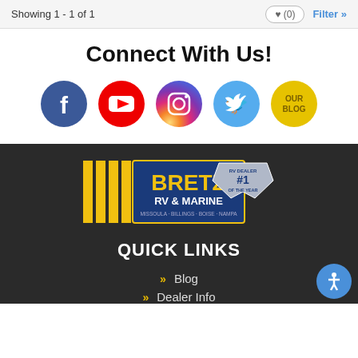Showing 1 - 1 of 1
Connect With Us!
[Figure (illustration): Social media icons: Facebook (blue circle with f), YouTube (red circle with play button), Instagram (gradient circle with camera), Twitter (blue circle with bird), and Our Blog (yellow circle with text)]
[Figure (logo): Bretz RV & Marine logo with gold vertical bars, blue banner, yellow BRETZ text, RV & Marine subtitle, MISSOULA - BILLINGS - BOISE - NAMPA tagline, and silver shield badge reading RV DEALER #1 OF THE YEAR]
QUICK LINKS
Blog
Dealer Info